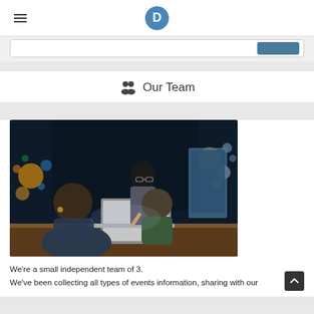D
[Figure (screenshot): Search bar with a dark blue button on the right, partially visible UI element]
👥 Our Team
[Figure (photo): Three people working together at a desk in a dark room with city lights bokeh in background. A woman with glasses is standing and pointing at a laptop screen, a Black woman is seated on the left, and a man is seated on the right.]
We're a small independent team of 3.
We've been collecting all types of events information, sharing with our